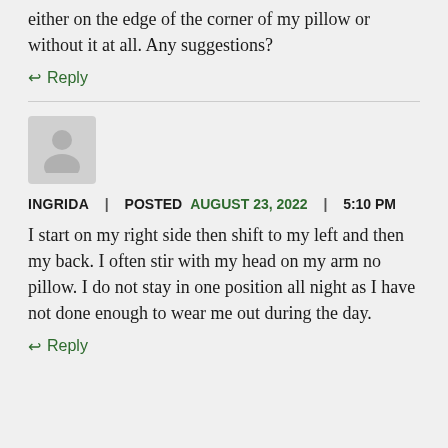either on the edge of the corner of my pillow or without it at all. Any suggestions?
↩ Reply
[Figure (illustration): Generic user avatar placeholder — grey square with white person silhouette icon]
INGRIDA | POSTED AUGUST 23, 2022 | 5:10 PM
I start on my right side then shift to my left and then my back. I often stir with my head on my arm no pillow. I do not stay in one position all night as I have not done enough to wear me out during the day.
↩ Reply